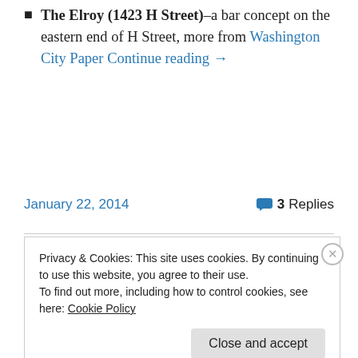The Elroy (1423 H Street)–a bar concept on the eastern end of H Street, more from Washington City Paper Continue reading →
January 22, 2014    3 Replies
Privacy & Cookies: This site uses cookies. By continuing to use this website, you agree to their use.
To find out more, including how to control cookies, see here: Cookie Policy
Close and accept